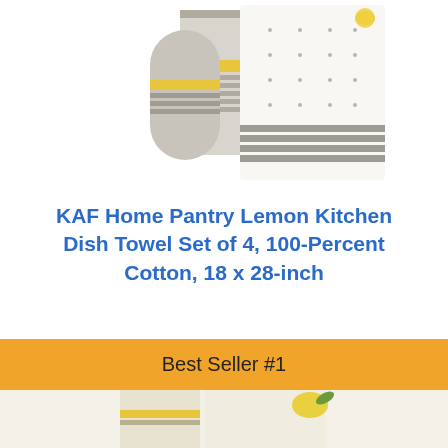[Figure (photo): Product photo of KAF Home Pantry Lemon Kitchen Dish Towel Set showing folded towels with stripes and dot patterns in white/grey/yellow]
KAF Home Pantry Lemon Kitchen Dish Towel Set of 4, 100-Percent Cotton, 18 x 28-inch
[Figure (other): Buy on Amazon button with Amazon logo]
Best Seller #1
[Figure (photo): Partial product image at bottom showing lemon kitchen towels with yellow and green colors]